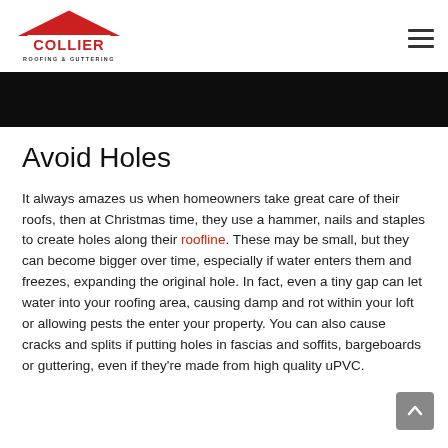Collier Roofing & Guttering
[Figure (photo): Dark/black hero banner image at top of page]
Avoid Holes
It always amazes us when homeowners take great care of their roofs, then at Christmas time, they use a hammer, nails and staples to create holes along their roofline. These may be small, but they can become bigger over time, especially if water enters them and freezes, expanding the original hole. In fact, even a tiny gap can let water into your roofing area, causing damp and rot within your loft or allowing pests the enter your property. You can also cause cracks and splits if putting holes in fascias and soffits, bargeboards or guttering, even if they're made from high quality uPVC.